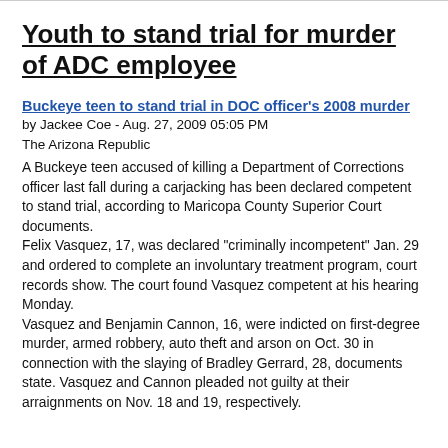Youth to stand trial for murder of ADC employee
Buckeye teen to stand trial in DOC officer's 2008 murder
by Jackee Coe - Aug. 27, 2009 05:05 PM
The Arizona Republic
A Buckeye teen accused of killing a Department of Corrections officer last fall during a carjacking has been declared competent to stand trial, according to Maricopa County Superior Court documents.
Felix Vasquez, 17, was declared "criminally incompetent" Jan. 29 and ordered to complete an involuntary treatment program, court records show. The court found Vasquez competent at his hearing Monday.
Vasquez and Benjamin Cannon, 16, were indicted on first-degree murder, armed robbery, auto theft and arson on Oct. 30 in connection with the slaying of Bradley Gerrard, 28, documents state. Vasquez and Cannon pleaded not guilty at their arraignments on Nov. 18 and 19, respectively.